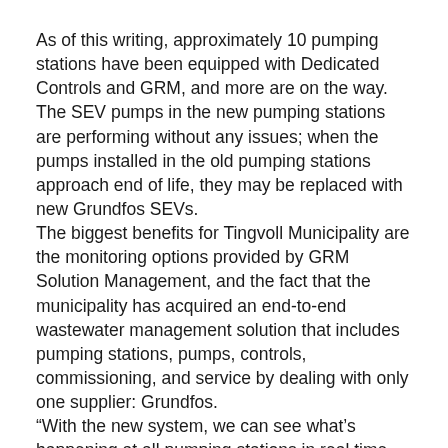As of this writing, approximately 10 pumping stations have been equipped with Dedicated Controls and GRM, and more are on the way. The SEV pumps in the new pumping stations are performing without any issues; when the pumps installed in the old pumping stations approach end of life, they may be replaced with new Grundfos SEVs.
The biggest benefits for Tingvoll Municipality are the monitoring options provided by GRM Solution Management, and the fact that the municipality has acquired an end-to-end wastewater management solution that includes pumping stations, pumps, controls, commissioning, and service by dealing with only one supplier: Grundfos.
“With the new system, we can see what’s happening at all pumping stations in real time, and that means we can plan our inspection and maintenance work much better,” says Egil Betten. “If a pump is doing fine, we don’t need to send someone in a service van to check up on it – we can see its